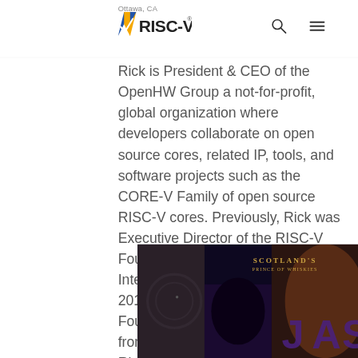Ottawa, CA | RISC-V (logo)
Rick is President & CEO of the OpenHW Group a not-for-profit, global organization where developers collaborate on open source cores, related IP, tools, and software projects such as the CORE-V Family of open source RISC-V cores. Previously, Rick was Executive Director of the RISC-V Foundation (now RISC-V International) which he founded in 2015 with the support of over 40 Founding Companies driving a new frontier of processor innovation. Rick holds an Executive MBA degree from the University of Ottawa and is an honors graduate of the faculty of Electronics Engineering Technology at Algonquin College.
[Figure (photo): Photo of a person at an event venue with 'Scotland's Prince of Whiskies' signage visible in the background, dark/purple ambiance]